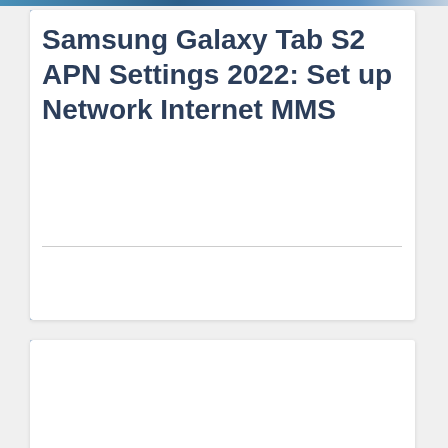Samsung Galaxy Tab S2 APN Settings 2022: Set up Network Internet MMS
About us   Contact Us   Privacy policy   Terms and conditions   Copyright © 2022 | APN Settings | All Rights